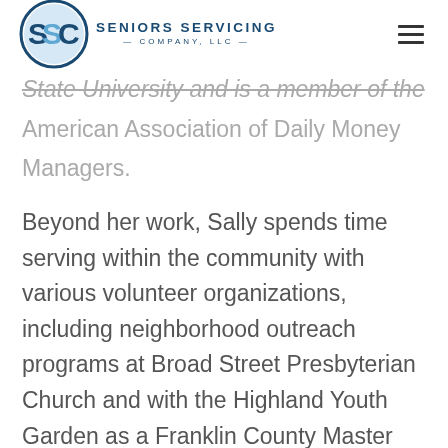Seniors Servicing Company, LLC
State University and is a member of the American Association of Daily Money Managers.
Beyond her work, Sally spends time serving within the community with various volunteer organizations, including neighborhood outreach programs at Broad Street Presbyterian Church and with the Highland Youth Garden as a Franklin County Master Gardener Volunteer. Many of Sally's hobbies